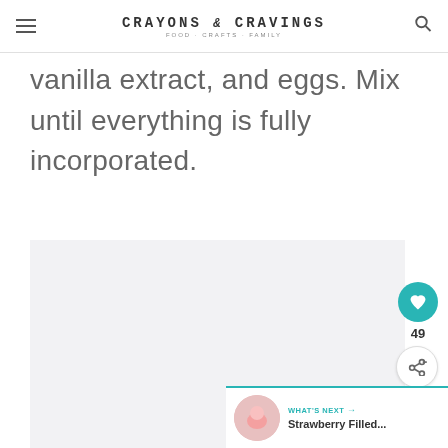CRAYONS & CRAVINGS — FOOD CRAFTS FAMILY
vanilla extract, and eggs. Mix until everything is fully incorporated.
[Figure (photo): Light gray/white image placeholder area for a recipe step photograph]
WHAT'S NEXT → Strawberry Filled...